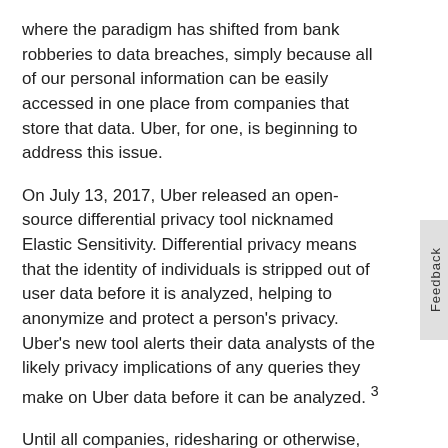where the paradigm has shifted from bank robberies to data breaches, simply because all of our personal information can be easily accessed in one place from companies that store that data. Uber, for one, is beginning to address this issue.
On July 13, 2017, Uber released an open-source differential privacy tool nicknamed Elastic Sensitivity. Differential privacy means that the identity of individuals is stripped out of user data before it is analyzed, helping to anonymize and protect a person's privacy. Uber's new tool alerts their data analysts of the likely privacy implications of any queries they make on Uber data before it can be analyzed. 3
Until all companies, ridesharing or otherwise, are held accountable for how they collect, store, and protect our data, responsibility ultimately falls to consumers to be aware of the companies they conduct business with and to be diligent, educated, and aware of how their data is